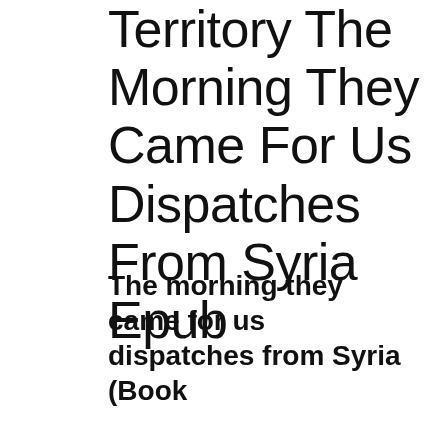Territory The Morning They Came For Us Dispatches From Syria Epub
The morning they came for us dispatches from Syria (Book